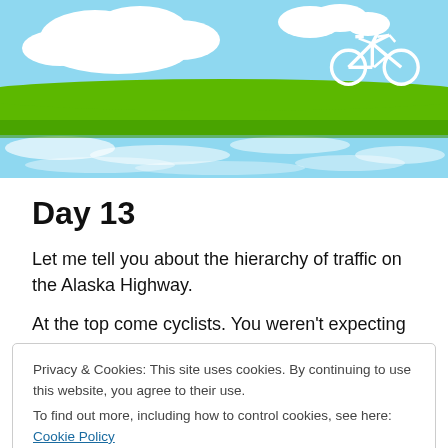[Figure (illustration): Blog header illustration with light blue sky, white clouds, green rolling hills/grass strip, and a white cyclist silhouette riding in the upper right corner]
Day 13
Let me tell you about the hierarchy of traffic on the Alaska Highway.
At the top come cyclists. You weren't expecting that were
Privacy & Cookies: This site uses cookies. By continuing to use this website, you agree to their use.
To find out more, including how to control cookies, see here: Cookie Policy
everything, from building materials to, and I swear I saw